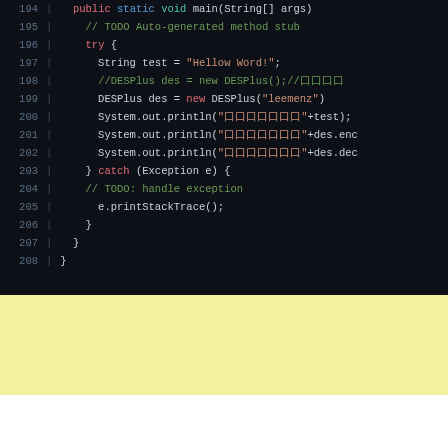[Figure (screenshot): Code editor screenshot showing Java code lines 194-208 with syntax highlighting on dark background. Shows a main method with try-catch block using DESPlus encryption class.]
Yellow highlighted/annotation area (blank)
Tags: [tag box with CJK characters]